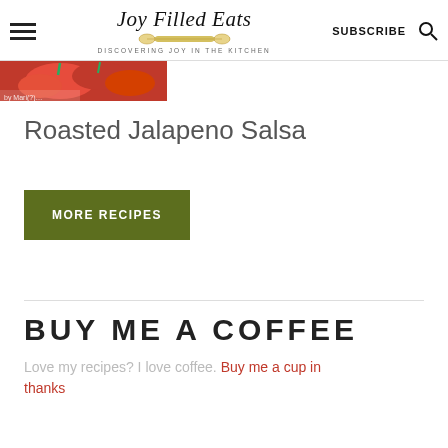Joy Filled Eats — DISCOVERING JOY IN THE KITCHEN | SUBSCRIBE
[Figure (photo): Thumbnail image of roasted tomatoes with red/green colors cropped at top]
Roasted Jalapeno Salsa
MORE RECIPES
BUY ME A COFFEE
Love my recipes? I love coffee. Buy me a cup in thanks